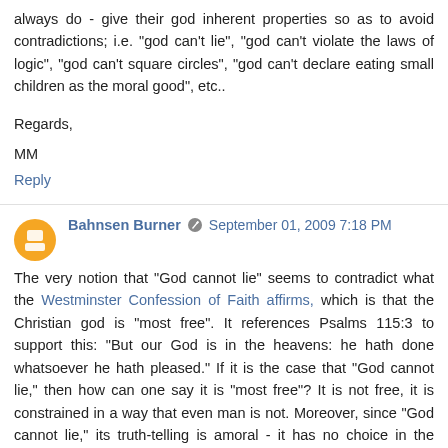always do - give their god inherent properties so as to avoid contradictions; i.e. "god can't lie", "god can't violate the laws of logic", "god can't square circles", "god can't declare eating small children as the moral good", etc..
Regards,
MM
Reply
Bahnsen Burner   September 01, 2009 7:18 PM
The very notion that "God cannot lie" seems to contradict what the Westminster Confession of Faith affirms, which is that the Christian god is "most free". It references Psalms 115:3 to support this: "But our God is in the heavens: he hath done whatsoever he hath pleased." If it is the case that "God cannot lie," then how can one say it is "most free"? It is not free, it is constrained in a way that even man is not. Moreover, since "God cannot lie," its truth-telling is amoral - it has no choice in the matter. Where there is no choice the action according to the Christian understanding